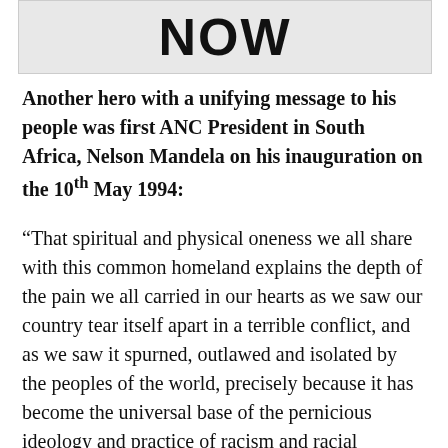[Figure (photo): Partial image showing large bold text 'NOW' at the bottom, appearing to be a cropped photograph or poster]
Another hero with a unifying message to his people was first ANC President in South Africa, Nelson Mandela on his inauguration on the 10th May 1994:
“That spiritual and physical oneness we all share with this common homeland explains the depth of the pain we all carried in our hearts as we saw our country tear itself apart in a terrible conflict, and as we saw it spurned, outlawed and isolated by the peoples of the world, precisely because it has become the universal base of the pernicious ideology and practice of racism and racial oppression”